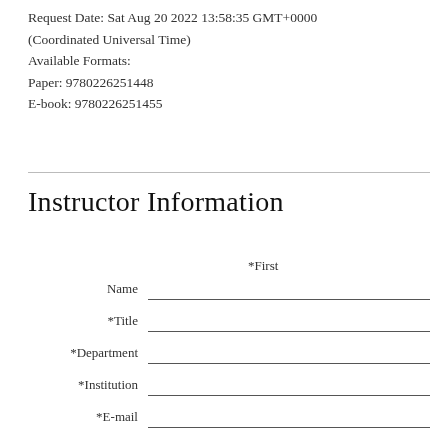Request Date: Sat Aug 20 2022 13:58:35 GMT+0000 (Coordinated Universal Time)
Available Formats:
Paper: 9780226251448
E-book: 9780226251455
Instructor Information
*First
Name
*Title
*Department
*Institution
*E-mail